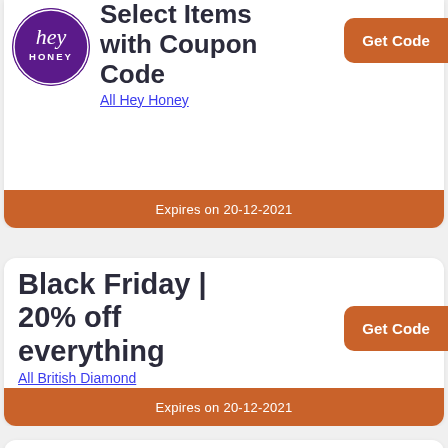[Figure (logo): Hey Honey brand logo - purple circle with italic 'hey' text and 'HONEY' below]
Select Items with Coupon Code
All Hey Honey
Get Code
Expires on 20-12-2021
Black Friday | 20% off everything
All British Diamond Company
Get Code
Expires on 20-12-2021
Free UK Deli...